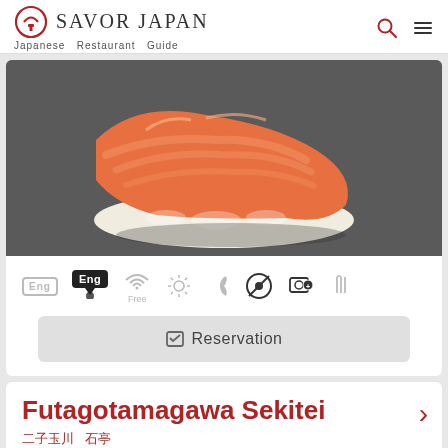Savor Japan — Japanese Restaurant Guide
[Figure (photo): Close-up photo of salmon nigiri sushi on a dark slate background]
Eng (English support icon, WiFi Free icon, sunlight icon, moon icon, no-smoking icon, photo icon, cutlery icon)
Reservation
Futagotamagawa Sekitei
二子玉川 石亭
≡ LIST   MAP
Futako-Tamagawa/Yoga, Setagaya, Tokyo